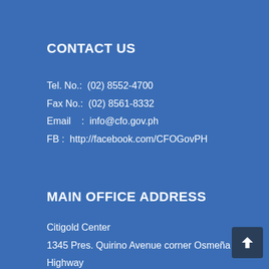CONTACT US
Tel. No.:  (02) 8552-4700
Fax No.:  (02) 8561-8332
Email    :  info@cfo.gov.ph
FB :  http://facebook.com/CFOGovPH
MAIN OFFICE ADDRESS
Citigold Center
1345 Pres. Quirino Avenue corner Osmeña Highway
Paco, Metro Manila